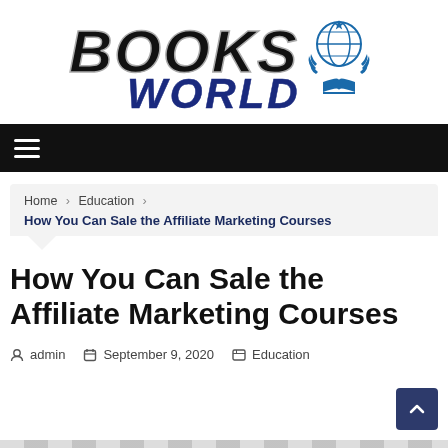[Figure (logo): Books World logo with bold black italic 'BOOKS' text and blue 'WORLD' text beneath a globe and open book icon with laurel wreath]
[Figure (other): Black navigation bar with hamburger menu icon (three white horizontal lines)]
Home > Education > How You Can Sale the Affiliate Marketing Courses
How You Can Sale the Affiliate Marketing Courses
admin   September 9, 2020   Education